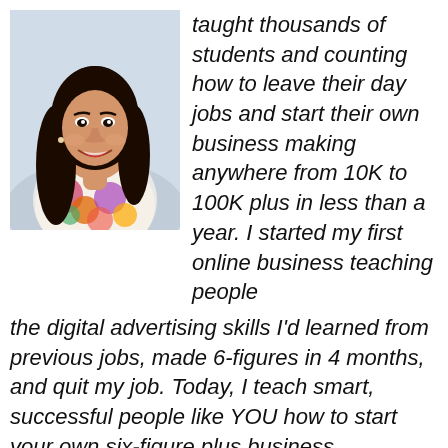[Figure (photo): Portrait photo of a young Asian woman with long dark hair, smiling, wearing a colorful floral top]
taught thousands of students and counting how to leave their day jobs and start their own business making anywhere from 10K to 100K plus in less than a year. I started my first online business teaching people the digital advertising skills I’d learned from previous jobs, made 6-figures in 4 months, and quit my job. Today, I teach smart, successful people like YOU how to start your own six-figure plus business.
Who is Lisa Fraley?